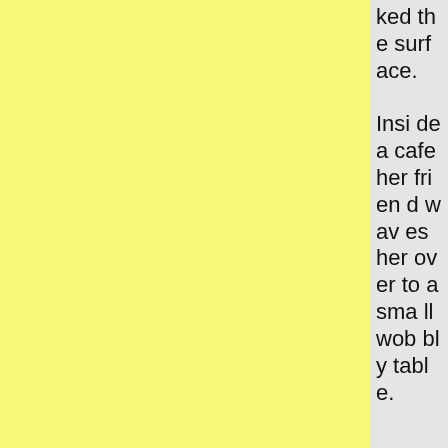ked the surface. Inside a cafe her friend waves her over to a small wobbly table.